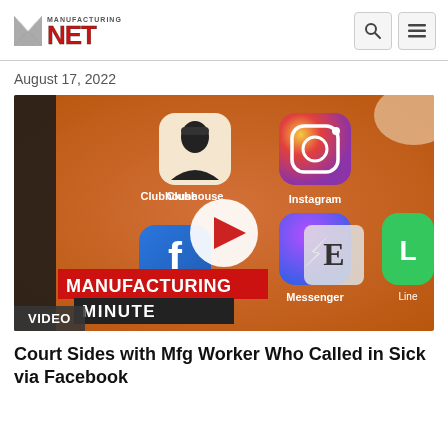Manufacturing.NET
August 17, 2022
[Figure (screenshot): Video thumbnail showing a smartphone screen with social media apps including Clubhouse, Instagram, Facebook, and Messenger. Overlaid text reads MANUFACTURING MINUTE with a play button in the center. A VIDEO label appears at the bottom left.]
Court Sides with Mfg Worker Who Called in Sick via Facebook